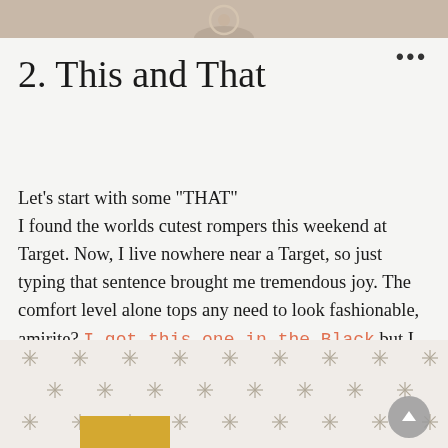[Figure (photo): Top portion of a photo showing what appears to be a ring or circular object against a light background]
2. This and That
Let’s start with some “THAT” I found the worlds cutest rompers this weekend at Target. Now, I live nowhere near a Target, so just typing that sentence brought me tremendous joy. The comfort level alone tops any need to look fashionable, amirite? I got this one in the Black but I also bought it in the rust color.
[Figure (photo): Bottom portion showing a room with a star/asterisk pattern wallpaper and a gold/yellow rectangular object at the bottom left]